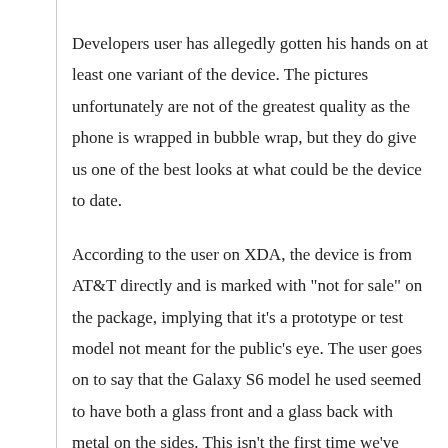Developers user has allegedly gotten his hands on at least one variant of the device. The pictures unfortunately are not of the greatest quality as the phone is wrapped in bubble wrap, but they do give us one of the best looks at what could be the device to date.
According to the user on XDA, the device is from AT&T directly and is marked with "not for sale" on the package, implying that it's a prototype or test model not meant for the public's eye. The user goes on to say that the Galaxy S6 model he used seemed to have both a glass front and a glass back with metal on the sides. This isn't the first time we've heard whispers of the device launching with a glass back, although more recent reports have claimed an all metal design.